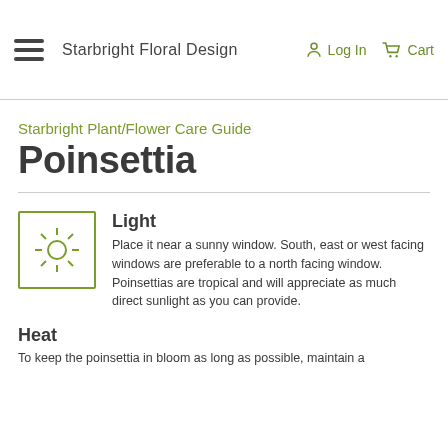Starbright Floral Design | Log In | Cart
Starbright Plant/Flower Care Guide
Poinsettia
Light
Place it near a sunny window. South, east or west facing windows are preferable to a north facing window. Poinsettias are tropical and will appreciate as much direct sunlight as you can provide.
Heat
To keep the poinsettia in bloom as long as possible, maintain a